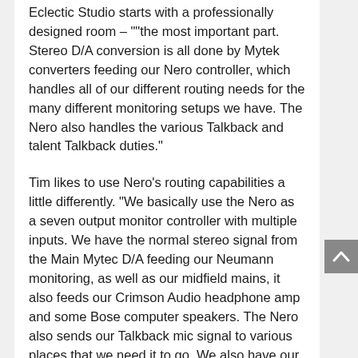Eclectic Studio starts with a professionally designed room – ""the most important part. Stereo D/A conversion is all done by Mytek converters feeding our Nero controller, which handles all of our different routing needs for the many different monitoring setups we have. The Nero also handles the various Talkback and talent Talkback duties."
Tim likes to use Nero's routing capabilities a little differently. "We basically use the Nero as a seven output monitor controller with multiple inputs. We have the normal stereo signal from the Main Mytec D/A feeding our Neumann monitoring, as well as our midfield mains, it also feeds our Crimson Audio headphone amp and some Bose computer speakers. The Nero also sends our Talkback mic signal to various places that we need it to go. We also have our talent Talkback mic from the live room coming in on a different input and going out to a separate set of speakers on their own volume control via HP out 2." Interesting!
Clients come from all corners of the world to work with him. "I had a label in Seoul, South